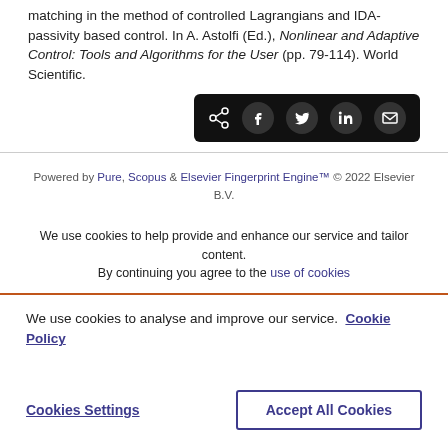matching in the method of controlled Lagrangians and IDA-passivity based control. In A. Astolfi (Ed.), Nonlinear and Adaptive Control: Tools and Algorithms for the User (pp. 79-114). World Scientific.
[Figure (other): Social share buttons bar (black background): share icon, Facebook, Twitter, LinkedIn, Email]
Powered by Pure, Scopus & Elsevier Fingerprint Engine™ © 2022 Elsevier B.V.
We use cookies to help provide and enhance our service and tailor content. By continuing you agree to the use of cookies
We use cookies to analyse and improve our service. Cookie Policy
Cookies Settings
Accept All Cookies